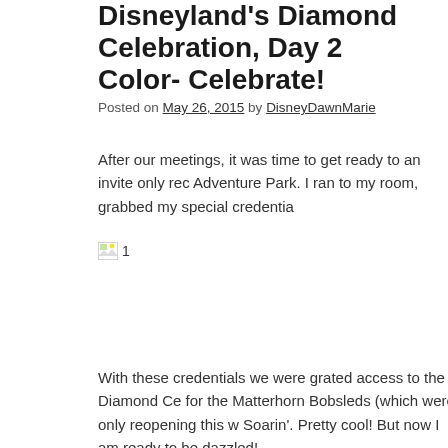Disneyland's Diamond Celebration, Day 2: Color- Celebrate!
Posted on May 26, 2015 by DisneyDawnMarie
After our meetings, it was time to get ready to an invite only rec Adventure Park. I ran to my room, grabbed my special credentia
[Figure (photo): Broken image placeholder labeled '1']
With these credentials we were grated access to the Diamond Ce for the Matterhorn Bobsleds (which were only reopening this w Soarin'. Pretty cool! But now I am ready to be dazzled!